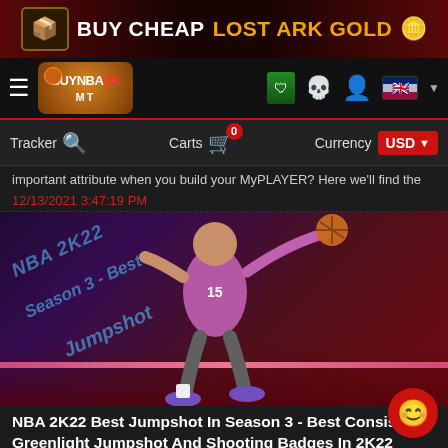[Figure (infographic): Ad banner: BUY CHEAP LOST ARK GOLD with chest icon and gold coin emoji on dark red background]
[Figure (logo): BuyNba2kMT website navigation bar with hamburger menu, logo, shield icon, skull icon, user icon, UK flag icon]
[Figure (screenshot): Toolbar with Tracker search, Carts (0 badge), Currency USD selector]
important attribute when you build your MyPLAYER? Here we’ll find the
12/13/2021 3:47:19 PM
[Figure (photo): NBA 2K22 Season 3 Best Jumpshot - basketball player dunking in pink/purple jersey #15, with cyan watermark text overlaid]
NBA 2K22 Best Jumpshot In Season 3 - Best Consistent Greenlight Jumpshot And Shooting Badges In 2K22
NBA 2K22 Season 3: Ice Out officially started in MyTEAM. How to improve your shooting aspect and what are the best jumpshots in NBA 2K22 Season 3? At buynba2kmt.com, we are showcasing you the NBA 2K22